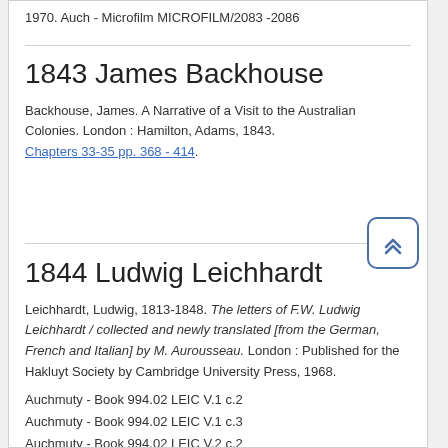1970. Auch - Microfilm MICROFILM/2083 -2086
1843 James Backhouse
Backhouse, James. A Narrative of a Visit to the Australian Colonies. London : Hamilton, Adams, 1843. Chapters 33-35 pp. 368 - 414.
1844 Ludwig Leichhardt
Leichhardt, Ludwig, 1813-1848. The letters of F.W. Ludwig Leichhardt / collected and newly translated [from the German, French and Italian] by M. Aurousseau. London : Published for the Hakluyt Society by Cambridge University Press, 1968.
Auchmuty - Book 994.02 LEIC V.1 c.2
Auchmuty - Book 994.02 LEIC V.1 c.3
Auchmuty - Book 994.02 LEIC V.2 c.2